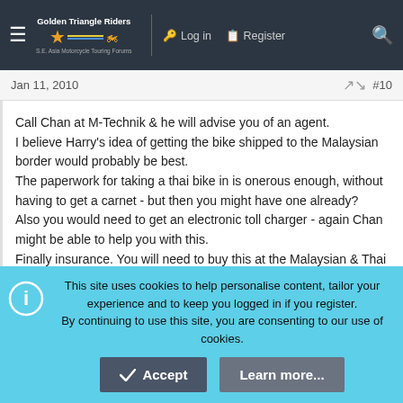Golden Triangle Riders | SE Asia Motorcycle Touring Forums | Log in | Register
Jan 11, 2010 #10
Call Chan at M-Technik & he will advise you of an agent. I believe Harry's idea of getting the bike shipped to the Malaysian border would probably be best. The paperwork for taking a thai bike in is onerous enough, without having to get a carnet - but then you might have one already? Also you would need to get an electronic toll charger - again Chan might be able to help you with this. Finally insurance. You will need to buy this at the Malaysian & Thai borders for a nominal fee. Good luck.
This site uses cookies to help personalise content, tailor your experience and to keep you logged in if you register. By continuing to use this site, you are consenting to our use of cookies.